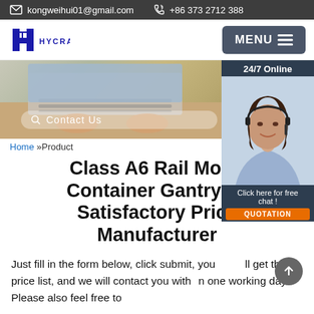kongweihui01@gmail.com   +86 373 2712 388
[Figure (logo): HYCRANE company logo with stylized H and crane symbol in blue]
[Figure (screenshot): Banner image showing hands on laptop keyboard with search/contact bar overlay]
[Figure (photo): 24/7 Online chat widget showing female agent with headset, with 'Click here for free chat!' and QUOTATION button]
Home »Product
Class A6 Rail Mounted Container Gantry Crane Satisfactory Price Manufacturer
Just fill in the form below, click submit, you will get the price list, and we will contact you within one working day. Please also feel free to